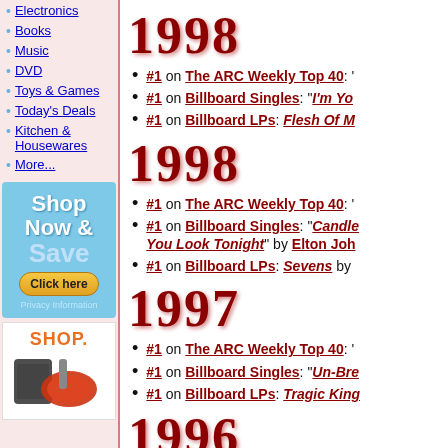Electronics
Books
Music
DVD
Toys & Games
Today's Deals
Kitchen & Housewares
More...
[Figure (screenshot): Shop Now & Save advertisement with Click here button and Privacy Information link]
[Figure (screenshot): Shop advertisement with kitchen appliance image]
1998
#1 on The ARC Weekly Top 40:
#1 on Billboard Singles: "I'm Yo..."
#1 on Billboard LPs: Flesh Of M...
1998
#1 on The ARC Weekly Top 40:
#1 on Billboard Singles: "Candle in the Wind / Something About the Way You Look Tonight" by Elton John
#1 on Billboard LPs: Sevens by...
1997
#1 on The ARC Weekly Top 40:
#1 on Billboard Singles: "Un-Bre..."
#1 on Billboard LPs: Tragic King...
1996